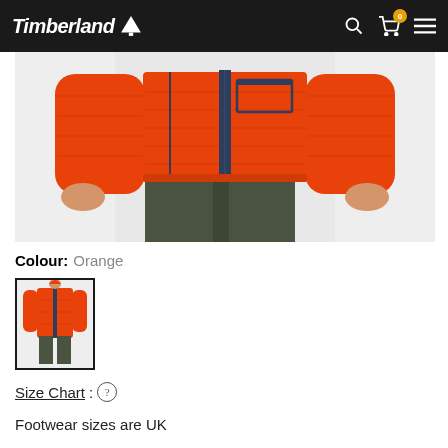Timberland
[Figure (photo): Man wearing an orange puffer jacket with navy zipper details and dark olive trousers, cropped at chest/waist level]
Colour: Orange
[Figure (photo): Thumbnail image of orange puffer jacket on a model, selected state with dark border]
Size Chart : ?
Footwear sizes are UK